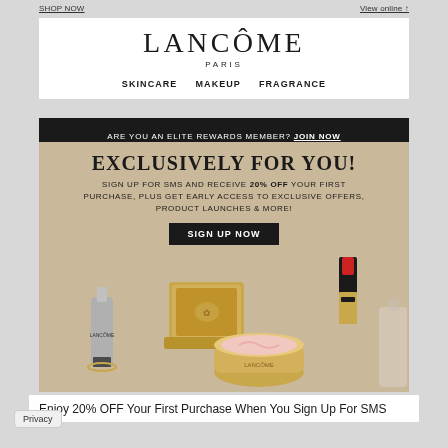SHOP NOW   View online ↑
LANCÔME
PARIS
SKINCARE   MAKEUP   FRAGRANCE
ARE YOU AN ELITE REWARDS MEMBER? JOIN NOW
[Figure (photo): Lancôme promotional image showing luxury beauty products on a beige background: a gold compact powder, a red lipstick with black and gold casing, a serum bottle, and a pink moisturizer jar with the Lancôme rose logo.]
EXCLUSIVELY FOR YOU!
SIGN UP FOR SMS AND RECEIVE 20% OFF YOUR FIRST PURCHASE, PLUS GET EARLY ACCESS TO EXCLUSIVE OFFERS, PRODUCT LAUNCHES & MORE!
SIGN UP NOW
Enjoy 20% OFF Your First Purchase When You Sign Up For SMS
Privacy